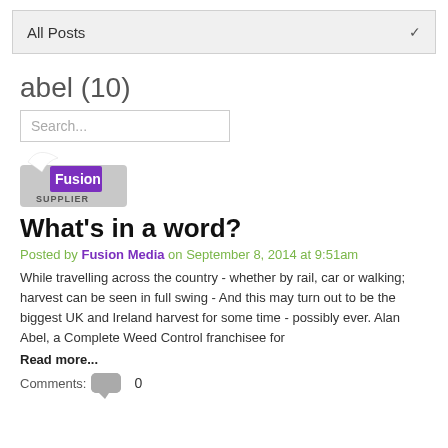All Posts
abel (10)
Search...
[Figure (logo): Fusion Supplier logo — a stylized letter F in purple with 'Fusion' text and 'SUPPLIER' label on a grey badge]
What's in a word?
Posted by Fusion Media on September 8, 2014 at 9:51am
While travelling across the country - whether by rail, car or walking; harvest can be seen in full swing - And this may turn out to be the biggest UK and Ireland harvest for some time - possibly ever. Alan Abel, a Complete Weed Control franchisee for
Read more...
Comments: 0